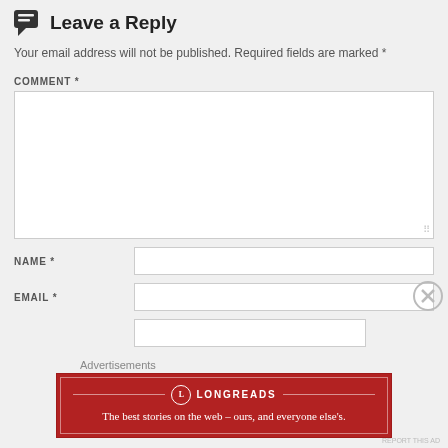Leave a Reply
Your email address will not be published. Required fields are marked *
COMMENT *
[Figure (other): Empty comment text area input box]
NAME *
[Figure (other): Empty name input field]
EMAIL *
[Figure (other): Empty email input field]
[Figure (other): Partial input field (website)]
Advertisements
[Figure (infographic): Longreads advertisement banner — red background, logo and tagline: The best stories on the web — ours, and everyone else's.]